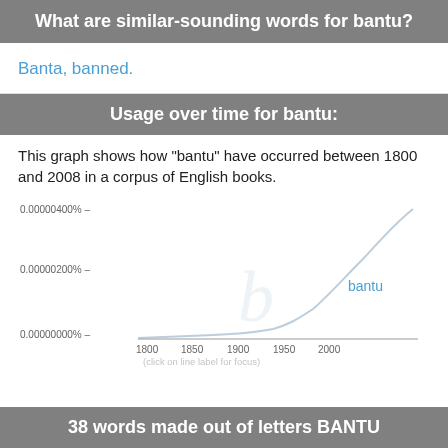What are similar-sounding words for bantu?
Banta, banned.
Usage over time for bantu:
This graph shows how "bantu" have occurred between 1800 and 2008 in a corpus of English books.
[Figure (continuous-plot): Line chart showing usage frequency of 'bantu' over time from 1800 to 2000, with y-axis ranging from 0.00000000% to 0.00000400%, showing an upward trend labeled 'bantu']
38 words made out of letters BANTU
5 letters